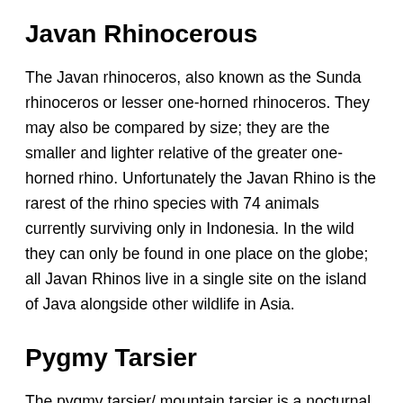Javan Rhinocerous
The Javan rhinoceros, also known as the Sunda rhinoceros or lesser one-horned rhinoceros. They may also be compared by size; they are the smaller and lighter relative of the greater one-horned rhino. Unfortunately the Javan Rhino is the rarest of the rhino species with 74 animals currently surviving only in Indonesia. In the wild they can only be found in one place on the globe; all Javan Rhinos live in a single site on the island of Java alongside other wildlife in Asia.
Pygmy Tarsier
The pygmy tarsier/ mountain tarsier is a nocturnal primate found in central Sulawesi island and the...